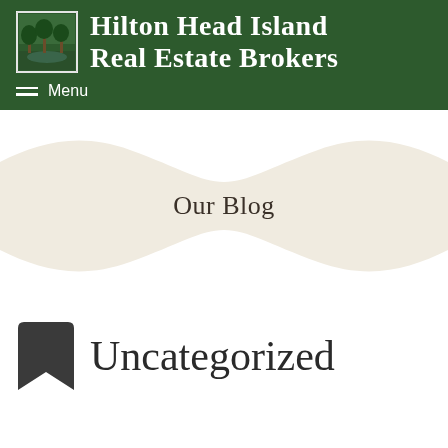Hilton Head Island Real Estate Brokers
Our Blog
Uncategorized